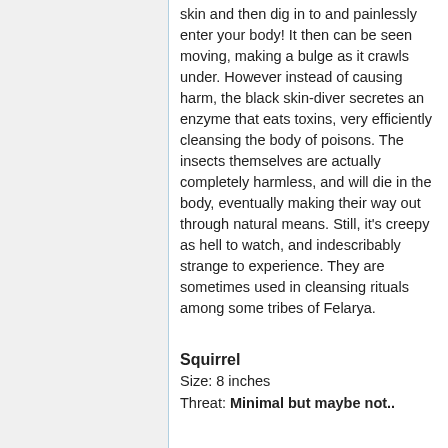skin and then dig in to and painlessly enter your body! It then can be seen moving, making a bulge as it crawls under. However instead of causing harm, the black skin-diver secretes an enzyme that eats toxins, very efficiently cleansing the body of poisons. The insects themselves are actually completely harmless, and will die in the body, eventually making their way out through natural means. Still, it's creepy as hell to watch, and indescribably strange to experience. They are sometimes used in cleansing rituals among some tribes of Felarya.
Squirrel
Size: 8 inches
Threat: Minimal but maybe not..